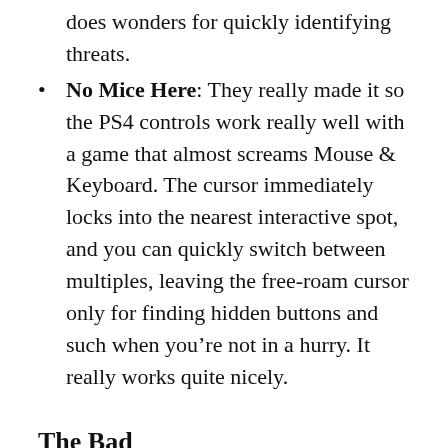does wonders for quickly identifying threats.
No Mice Here: They really made it so the PS4 controls work really well with a game that almost screams Mouse & Keyboard. The cursor immediately locks into the nearest interactive spot, and you can quickly switch between multiples, leaving the free-roam cursor only for finding hidden buttons and such when you’re not in a hurry. It really works quite nicely.
The Bad
That’s not how light works: That’s the phrase I mostly spoke out loud when playing this game. Vaporum is the kind of game where the darkness feels like molasses, it’s cloying and not even the brightest light can dissolve it. You have light sources everywhere, but they illuminate a